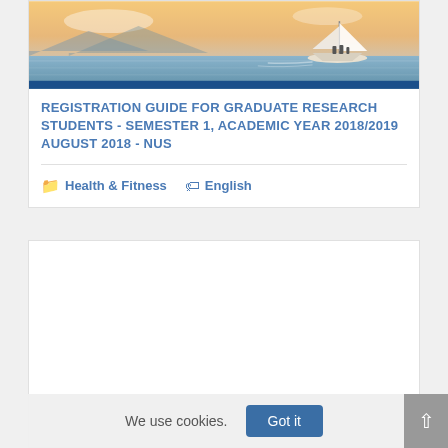[Figure (photo): Sailboat on calm water with mountains and sunset sky in background, with a blue horizontal bar at the bottom of the image]
REGISTRATION GUIDE FOR GRADUATE RESEARCH STUDENTS - SEMESTER 1, ACADEMIC YEAR 2018/2019 AUGUST 2018 - NUS
Health & Fitness   English
[Figure (other): Empty white card/box area]
We use cookies.